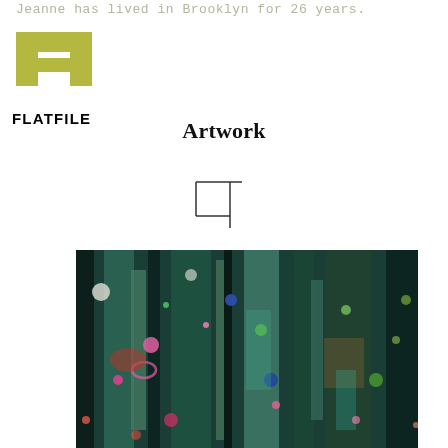Jeanne has lived in Brooklyn for 26 years.
[Figure (logo): FLATFILE logo: stylized H/plus shape in olive/yellow-green with the word FLATFILE below in bold black]
Artwork
[Figure (other): Crop/frame icon SVG symbol (a square with corner markers)]
[Figure (photo): Abstract painting with dark teal, green, black vertical forms with colorful dots and organic shapes — pinks, reds, greens, whites on dark background]